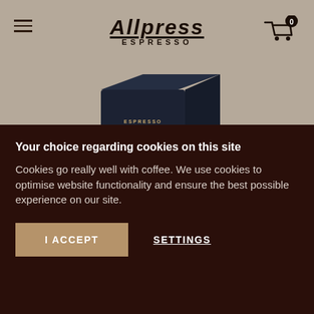Allpress Espresso — Navigation header with hamburger menu and cart icon showing 0 items
[Figure (photo): Dark navy/black coffee bag product box for Allpress Espresso SurfAid Sumatra Wahana Estate, shown at an angle on a tan/beige background]
SurfAid | Sumatra Wahana Estate
Your choice regarding cookies on this site
Cookies go really well with coffee. We use cookies to optimise website functionality and ensure the best possible experience on our site.
I ACCEPT
SETTINGS